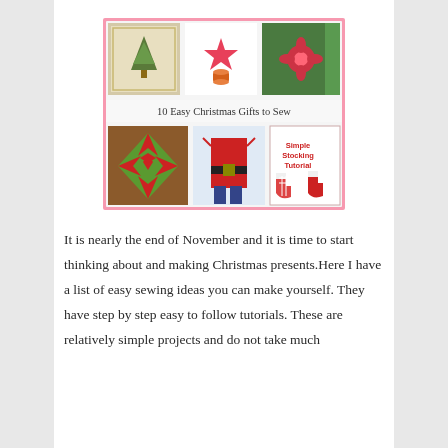[Figure (illustration): Collage of 6 Christmas sewing project photos arranged in 2 rows of 3, with a pink border and text '10 Easy Christmas Gifts to Sew' in the middle. Top row: embroidered Christmas tree pillow, red star ornament with thread spool, green pillow with red flower. Bottom row: red and green star quilt block, red Santa apron, Simple Stocking Tutorial with red stockings.]
It is nearly the end of November and it is time to start thinking about and making Christmas presents.Here I have a list of easy sewing ideas you can make yourself. They have step by step easy to follow tutorials. These are relatively simple projects and do not take much